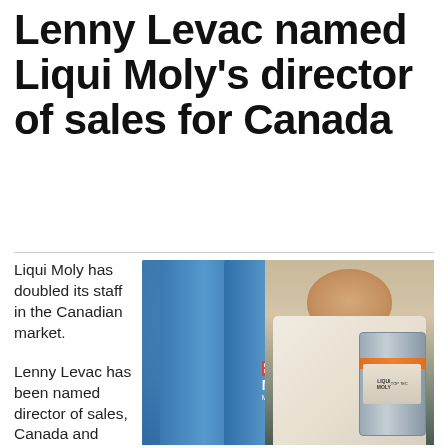Lenny Levac named Liqui Moly's director of sales for Canada
Liqui Moly has doubled its staff in the Canadian market.
Lenny Levac has been named director of sales, Canada and
[Figure (photo): A man in a white dress shirt smiling and holding a Liqui Moly motor oil canister, standing in front of large blue barrels labeled MOTOROIL Made in Germany]